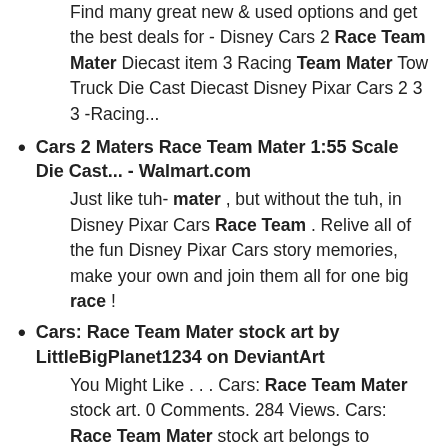Find many great new & used options and get the best deals for - Disney Cars 2 Race Team Mater Diecast item 3 Racing Team Mater Tow Truck Die Cast Diecast Disney Pixar Cars 2 3 3 -Racing...
Cars 2 Maters Race Team Mater 1:55 Scale Die Cast... - Walmart.com
Just like tuh- mater , but without the tuh, in Disney Pixar Cars Race Team . Relive all of the fun Disney Pixar Cars story memories, make your own and join them all for one big race !
Cars: Race Team Mater stock art by LittleBigPlanet1234 on DeviantArt
You Might Like . . . Cars: Race Team Mater stock art. 0 Comments. 284 Views. Cars: Race Team Mater stock art belongs to Disney/Pixar. Image details.
Disney Cars 2 Race Team Mater Diecast Vehicle Boys for sale... | eBay